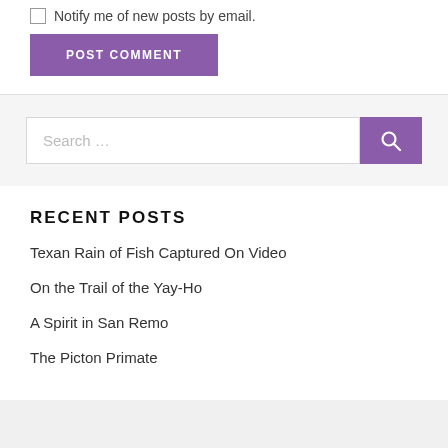Notify me of new posts by email.
POST COMMENT
Search …
RECENT POSTS
Texan Rain of Fish Captured On Video
On the Trail of the Yay-Ho
A Spirit in San Remo
The Picton Primate